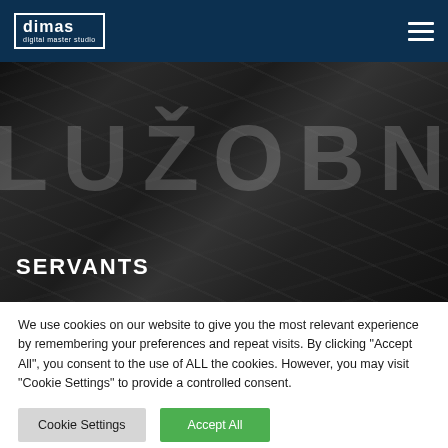[Figure (screenshot): Navigation bar with dimas digital master studio logo on the left (white text in bordered box) and hamburger menu icon on the right, on a dark navy background]
[Figure (photo): Dark black-and-white hero image showing close-up of fabric and foliage with large translucent text 'LUŽOBNÍO' overlaid, and bold white text 'SERVANTS' in the lower left corner]
We use cookies on our website to give you the most relevant experience by remembering your preferences and repeat visits. By clicking "Accept All", you consent to the use of ALL the cookies. However, you may visit "Cookie Settings" to provide a controlled consent.
Cookie Settings | Accept All